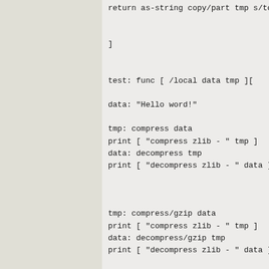return as-string copy/part tmp s/total_out

]

test: func [ /local data tmp ][

data: "Hello word!"

tmp: compress data
print [ "compress zlib - " tmp ]
data: decompress tmp
print [ "decompress zlib - " data ]


tmp: compress/gzip data
print [ "compress zlib - " tmp ]
data: decompress/gzip tmp
print [ "decompress zlib - " data ]


tmp: compress/deflate data
print [ "compress deflate - " tmp ]
data: decompress/deflate tmp